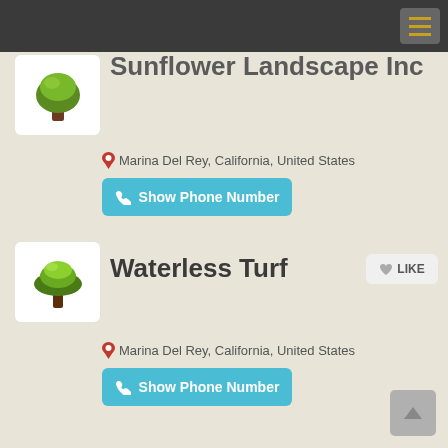Sunflower Landscape Inc
Marina Del Rey, California, United States
Show Phone Number
Waterless Turf
Marina Del Rey, California, United States
Show Phone Number